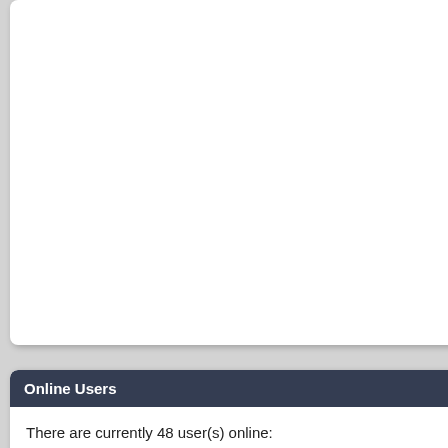[Figure (screenshot): White rounded box at top left, partially visible, appears to be a content widget area]
Online Users
There are currently 48 user(s) online:
Google
[Figure (screenshot): White rounded box on right side, partially cut off, top portion visible]
Is Hansel and
[Figure (illustration): Hansel & Gretel Witch Hunters movie logo/title on beige background with red gothic lettering]
Guns N' Roses
[Figure (photo): Partially visible image at bottom right, cut off]